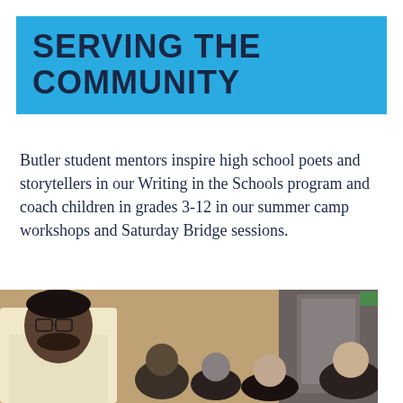SERVING THE COMMUNITY
Butler student mentors inspire high school poets and storytellers in our Writing in the Schools program and coach children in grades 3-12 in our summer camp workshops and Saturday Bridge sessions.
→ Community Programs
[Figure (photo): A young Black man wearing glasses and a light-colored shirt stands speaking, with a group of people seated in the background in what appears to be a classroom or community space.]